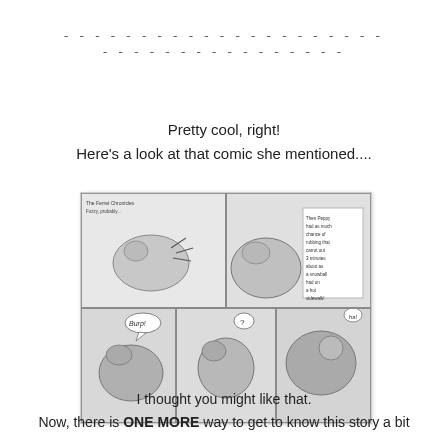- - - - - - - - - - - - - - - - - - - - - - - - - - - - - - - - - - - - -
Pretty cool, right!
Here's a look at that comic she mentioned....
[Figure (illustration): A black and white hand-drawn comic strip showing animals (guinea pigs or similar small animals) in multiple panels. Top panels show animals interacting, with one appearing to eat a carrot, and a text box with handwritten narration. Bottom panels show the animals with speech bubbles including 'Burp!' and '?'.]
I thought you might like that.
Now, there is ONE MORE way to get to know this story a bit